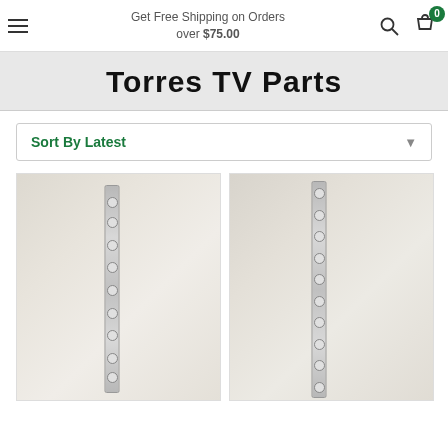Get Free Shipping on Orders over $75.00
Torres TV Parts
Sort By Latest
[Figure (photo): LED backlight strip for TV, vertical orientation on light beige background]
[Figure (photo): LED backlight strip for TV, vertical orientation on light beige background]